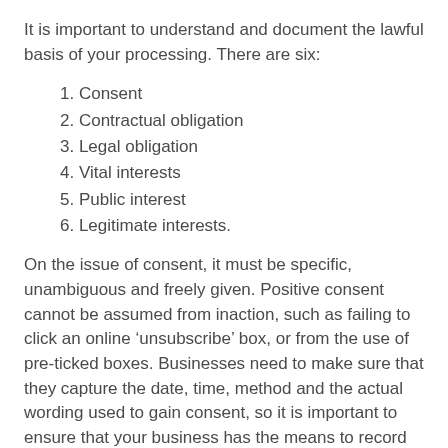It is important to understand and document the lawful basis of your processing. There are six:
1. Consent
2. Contractual obligation
3. Legal obligation
4. Vital interests
5. Public interest
6. Legitimate interests.
On the issue of consent, it must be specific, unambiguous and freely given. Positive consent cannot be assumed from inaction, such as failing to click an online ‘unsubscribe’ box, or from the use of pre-ticked boxes. Businesses need to make sure that they capture the date, time, method and the actual wording used to gain consent, so it is important to ensure that your business has the means to record and document such information.
ICO consent guidance
Legitimate interest will grant you the ability to process the